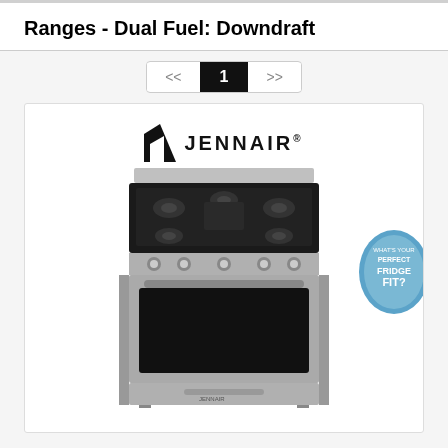Ranges - Dual Fuel: Downdraft
[Figure (screenshot): Pagination control showing '<<', '1', '>>' with current page highlighted in black]
[Figure (photo): JennAir stainless steel dual fuel downdraft range with gas cooktop and electric oven, shown in a product card with JennAir logo above. A 'What's Your Perfect Fridge Fit?' badge appears in the bottom right corner of the card.]